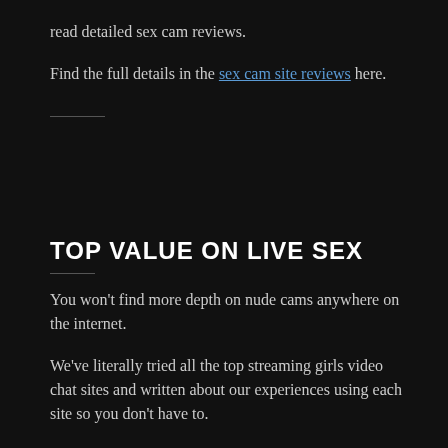read detailed sex cam reviews.
Find the full details in the sex cam site reviews here.
TOP VALUE ON LIVE SEX
You won't find more depth on nude cams anywhere on the internet.
We've literally tried all the top streaming girls video chat sites and written about our experiences using each site so you don't have to.